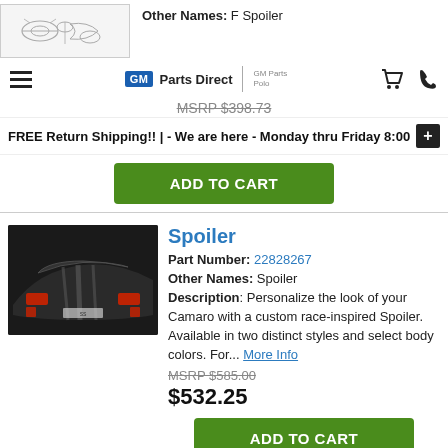[Figure (illustration): Line drawing illustration of a spoiler part (F Spoiler) from a parts catalog]
Other Names: F Spoiler
GM Parts Direct | [logo]
MSRP $398.73
FREE Return Shipping!! | - We are here - Monday thru Friday 8:00
ADD TO CART
[Figure (photo): Photo of a dark Camaro car from rear showing a spoiler, with red taillights visible]
Spoiler
Part Number: 22828267
Other Names: Spoiler
Description: Personalize the look of your Camaro with a custom race-inspired Spoiler. Available in two distinct styles and select body colors. For... More Info
MSRP $585.00
$532.25
ADD TO CART